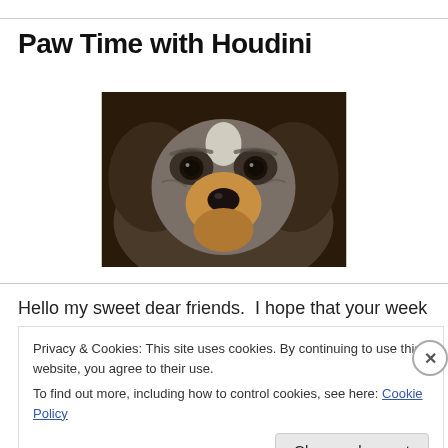Paw Time with Houdini
[Figure (photo): Close-up photo of a small scruffy dog (Houdini) with dark grey, black, and tan fur, looking directly at the camera against a dark background.]
Hello my sweet dear friends.  I hope that your week has
Privacy & Cookies: This site uses cookies. By continuing to use this website, you agree to their use.
To find out more, including how to control cookies, see here: Cookie Policy
Close and accept